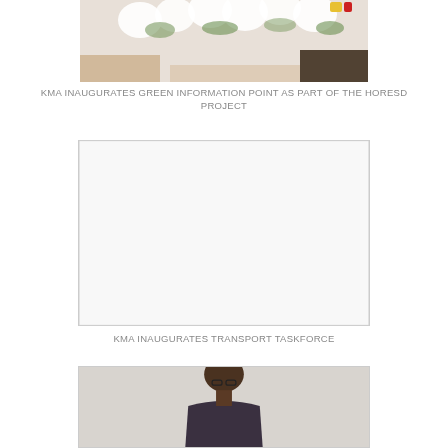[Figure (photo): Partial view of people near white floral decorations, cropped at top]
KMA INAUGURATES GREEN INFORMATION POINT AS PART OF THE HORESD PROJECT
[Figure (photo): Blank/white placeholder image with a light border]
KMA INAUGURATES TRANSPORT TASKFORCE
[Figure (photo): Person standing against a light background, partially visible at bottom of page]